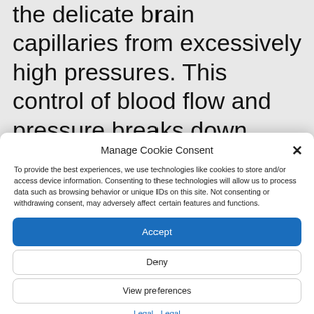the delicate brain capillaries from excessively high pressures. This control of blood flow and pressure breaks down
Manage Cookie Consent
To provide the best experiences, we use technologies like cookies to store and/or access device information. Consenting to these technologies will allow us to process data such as browsing behavior or unique IDs on this site. Not consenting or withdrawing consent, may adversely affect certain features and functions.
Accept
Deny
View preferences
Legal  Legal